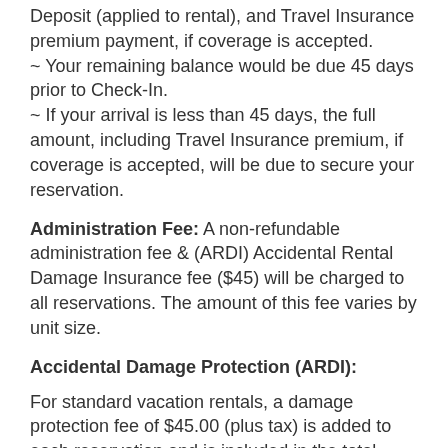Deposit (applied to rental), and Travel Insurance premium payment, if coverage is accepted.
~ Your remaining balance would be due 45 days prior to Check-In.
~ If your arrival is less than 45 days, the full amount, including Travel Insurance premium, if coverage is accepted, will be due to secure your reservation.
Administration Fee: A non-refundable administration fee & (ARDI) Accidental Rental Damage Insurance fee ($45) will be charged to all reservations. The amount of this fee varies by unit size.
Accidental Damage Protection (ARDI):
For standard vacation rentals, a damage protection fee of $45.00 (plus tax) is added to each reservation and is included in the total quoted to you at booking. The damage protection is non-refundable and covers accidental damages to the unit or its contents up to a